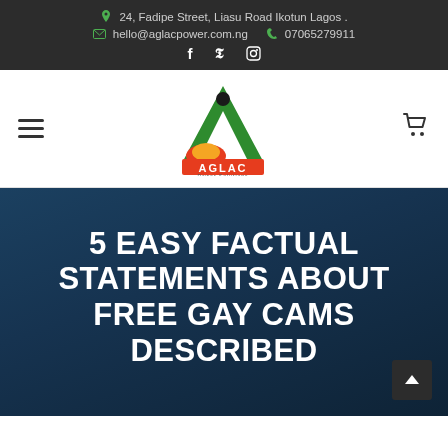24, Fadipe Street, Liasu Road Ikotun Lagos . | hello@aglacpower.com.ng | 07065279911
[Figure (logo): AGLAC Power Solutions logo — green letter A with orange/red flame element and AGLAC text below]
5 EASY FACTUAL STATEMENTS ABOUT FREE GAY CAMS DESCRIBED